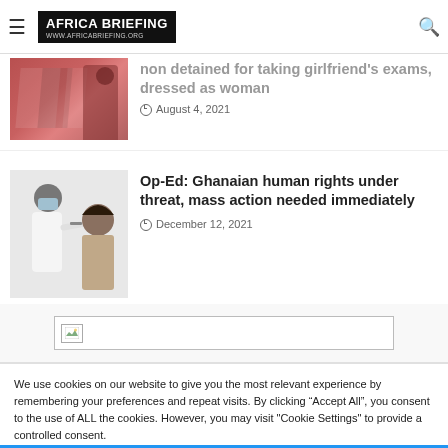AFRICA BRIEFING
non detained for taking girlfriend's exams, dressed as woman
August 4, 2021
Op-Ed: Ghanaian human rights under threat, mass action needed immediately
December 12, 2021
[Figure (photo): Broken image placeholder]
We use cookies on our website to give you the most relevant experience by remembering your preferences and repeat visits. By clicking "Accept All", you consent to the use of ALL the cookies. However, you may visit "Cookie Settings" to provide a controlled consent.